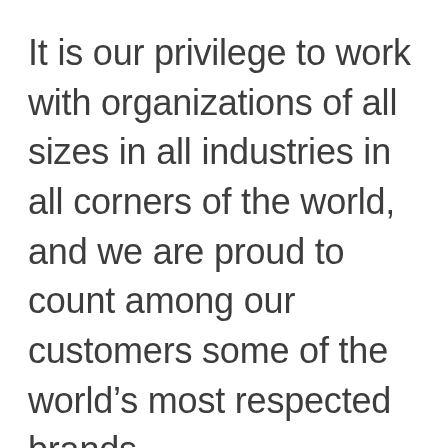It is our privilege to work with organizations of all sizes in all industries in all corners of the world, and we are proud to count among our customers some of the world’s most respected brands.